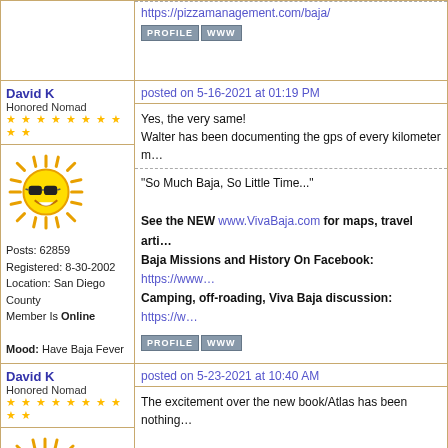https://pizzamanagement.com/baja/
[Figure (other): PROFILE and WWW buttons]
David K
Honored Nomad
★★★★★★★★★★
posted on 5-16-2021 at 01:19 PM
[Figure (illustration): Sun avatar with sunglasses cartoon]
Posts: 62859
Registered: 8-30-2002
Location: San Diego County
Member Is Online
Mood: Have Baja Fever
Yes, the very same!
Walter has been documenting the gps of every kilometer m…
"So Much Baja, So Little Time..."

See the NEW www.VivaBaja.com for maps, travel arti…
Baja Missions and History On Facebook: https://www…
Camping, off-roading, Viva Baja discussion: https://w…
[Figure (other): PROFILE and WWW buttons]
David K
Honored Nomad
★★★★★★★★★★
posted on 5-23-2021 at 10:40 AM
[Figure (illustration): Sun avatar with sunglasses cartoon]
The excitement over the new book/Atlas has been nothing…

Amazon has not been able to keep up with orders so man… reordered from Baja Bound, Benchmark, or Discover Baja…

The Benchmark cartographers and I recently recorded a S… order quantity has been huge.